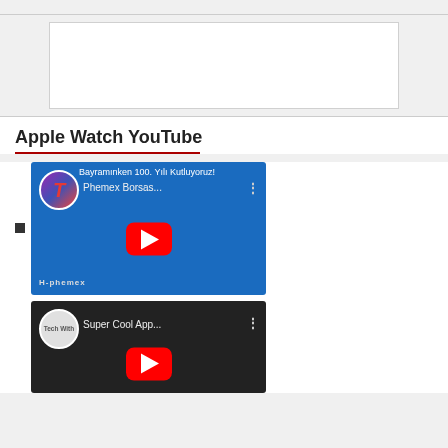[Figure (other): Advertisement placeholder box (white rectangle with border)]
Apple Watch YouTube
[Figure (screenshot): YouTube video thumbnail: Phemex Borsas... with play button, channel icon T, blue background with graphics, text 'Bayramınken 100. Yılı Kutluyoruz!' at top]
[Figure (screenshot): YouTube video thumbnail: Super Cool App... with play button, channel icon Tech With, dark background]